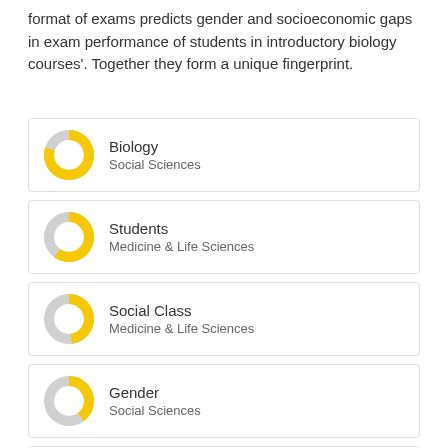format of exams predicts gender and socioeconomic gaps in exam performance of students in introductory biology courses'. Together they form a unique fingerprint.
Biology — Social Sciences
Students — Medicine & Life Sciences
Social Class — Medicine & Life Sciences
Gender — Social Sciences
Social status — Social Sciences
Performance (partial)